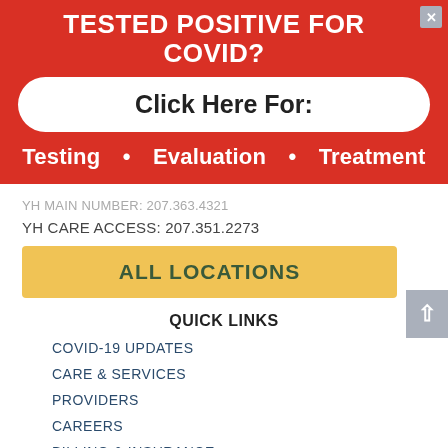TESTED POSITIVE FOR COVID?
Click Here For:
Testing • Evaluation • Treatment
YH MAIN NUMBER: 207.363.4321
YH CARE ACCESS: 207.351.2273
ALL LOCATIONS
QUICK LINKS
COVID-19 UPDATES
CARE & SERVICES
PROVIDERS
CAREERS
BILLING & INSURANCE